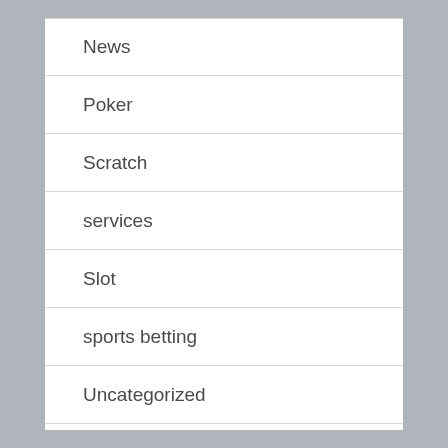News
Poker
Scratch
services
Slot
sports betting
Uncategorized
varius